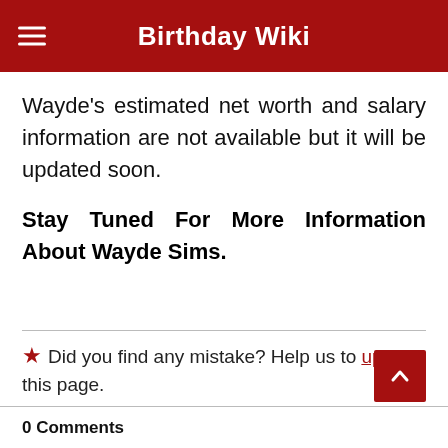Birthday Wiki
Wayde's estimated net worth and salary information are not available but it will be updated soon.
Stay Tuned For More Information About Wayde Sims.
⭐ Did you find any mistake? Help us to update this page.
0 Comments